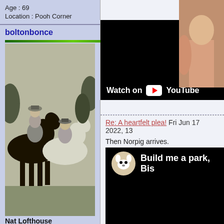Age : 69
Location : Pooh Corner
[Figure (screenshot): YouTube video embed showing 'Watch on YouTube' bar at bottom, with partial view of a person on the right side]
boltonbonce
Re: A heartfelt plea! Fri Jun 17 2022, 13
Then Norpig arrives.
[Figure (photo): Black and white photo of two men on horseback, one on dark horse, one on light horse]
Nat Lofthouse
[Figure (photo): Small avatar photo of a man with glasses in a dark jacket]
Posts : 28668
Join date : 2013-10-05
Age : 69
Location : Pooh Corner
[Figure (screenshot): YouTube video embed titled 'Build me a park, Bis...' with channel icon showing a dog/cat face logo, black video area and Watch on YouTube bar at bottom]